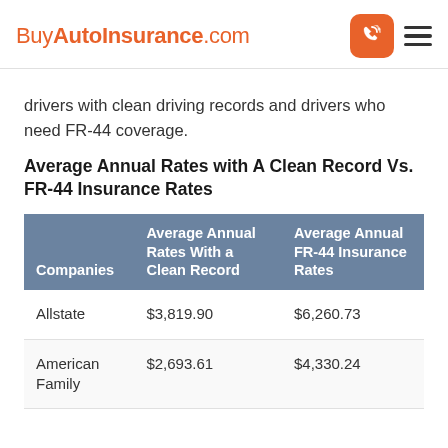BuyAutoInsurance.com
drivers with clean driving records and drivers who need FR-44 coverage.
Average Annual Rates with A Clean Record Vs. FR-44 Insurance Rates
| Companies | Average Annual Rates With a Clean Record | Average Annual FR-44 Insurance Rates |
| --- | --- | --- |
| Allstate | $3,819.90 | $6,260.73 |
| American Family | $2,693.61 | $4,330.24 |